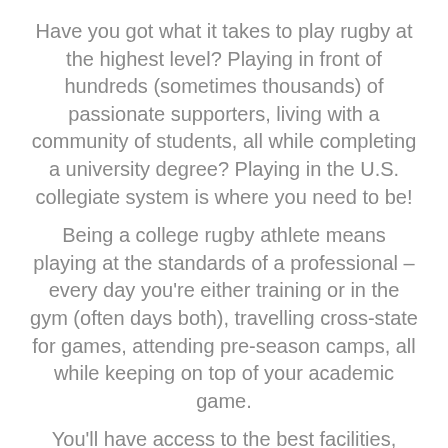Have you got what it takes to play rugby at the highest level? Playing in front of hundreds (sometimes thousands) of passionate supporters, living with a community of students, all while completing a university degree? Playing in the U.S. collegiate system is where you need to be! Being a college rugby athlete means playing at the standards of a professional – every day you're either training or in the gym (often days both), travelling cross-state for games, attending pre-season camps, all while keeping on top of your academic game. You'll have access to the best facilities, coaches, athletic trainers, physios, doctors, equipment and teammates. You'll also have access to a network of